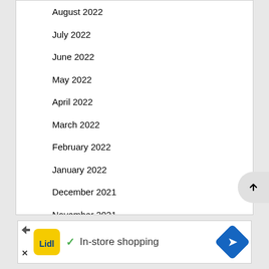August 2022
July 2022
June 2022
May 2022
April 2022
March 2022
February 2022
January 2022
December 2021
November 2021
October 2021
September 2021
Show More
[Figure (other): Lidl advertisement banner: In-store shopping]